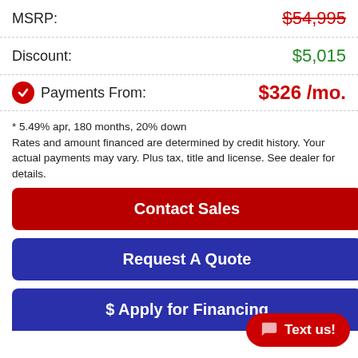MSRP: $54,995
Discount: $5,015
Payments From: $326 /mo.
* 5.49% apr, 180 months, 20% down
Rates and amount financed are determined by credit history. Your actual payments may vary. Plus tax, title and license. See dealer for details.
Contact Sales
Request A Quote
$ Apply for Financing
Value My Trade
Text us!